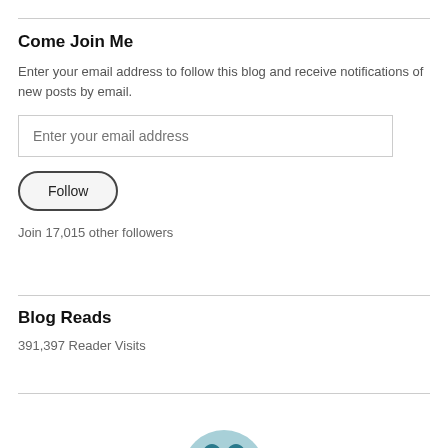Come Join Me
Enter your email address to follow this blog and receive notifications of new posts by email.
Enter your email address
Follow
Join 17,015 other followers
Blog Reads
391,397 Reader Visits
[Figure (illustration): Partial view of a circular avatar/profile image with teal/blue coloring, cropped at bottom of page]